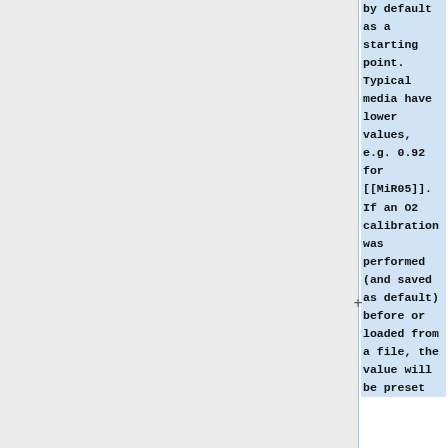by default as a starting point. Typical media have lower values, e.g. 0.92 for [[MiR05]]. If an O2 calibration was performed (and saved as default) before or loaded from a file, the value will be preset